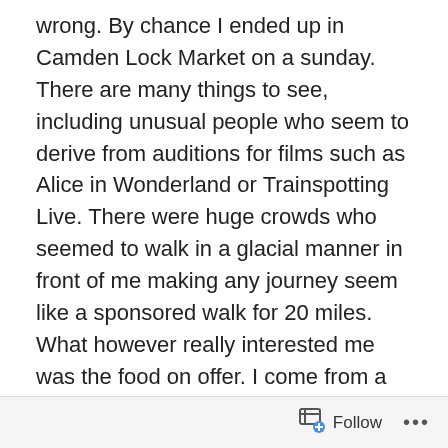wrong. By chance I ended up in Camden Lock Market on a sunday. There are many things to see, including unusual people who seem to derive from auditions for films such as Alice in Wonderland or Trainspotting Live. There were huge crowds who seemed to walk in a glacial manner in front of me making any journey seem like a sponsored walk for 20 miles. What however really interested me was the food on offer. I come from a background where “street food” equates to football ground fare. Tedious burgers made from dubious meat, strange pies and pasties and often ” not very” hot dogs ( and where do they get the cheap tomato and brown sauces from? Brands that do not seem existent on this planet end up at football grounds). But in a section of the market there was a collection of stalls of superb food. The sellers also knew it was superb
Follow ...